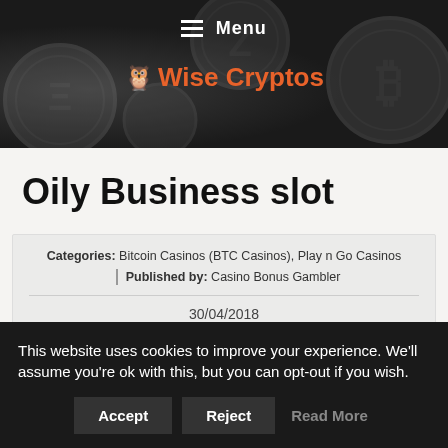Menu
[Figure (logo): Wise Cryptos logo with orange emoji owl and orange text]
Oily Business slot
Categories: Bitcoin Casinos (BTC Casinos), Play n Go Casinos | Published by: Casino Bonus Gambler
30/04/2018
Oily Business
This website uses cookies to improve your experience. We'll assume you're ok with this, but you can opt-out if you wish.
Accept   Reject   Read More